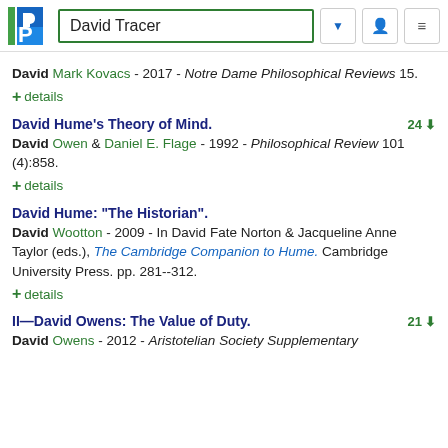David Tracer
David Mark Kovacs - 2017 - Notre Dame Philosophical Reviews 15.
+ details
David Hume's Theory of Mind. 24
David Owen & Daniel E. Flage - 1992 - Philosophical Review 101 (4):858.
+ details
David Hume: "The Historian".
David Wootton - 2009 - In David Fate Norton & Jacqueline Anne Taylor (eds.), The Cambridge Companion to Hume. Cambridge University Press. pp. 281--312.
+ details
II—David Owens: The Value of Duty. 21
David Owens - 2012 - Aristotelian Society Supplementary